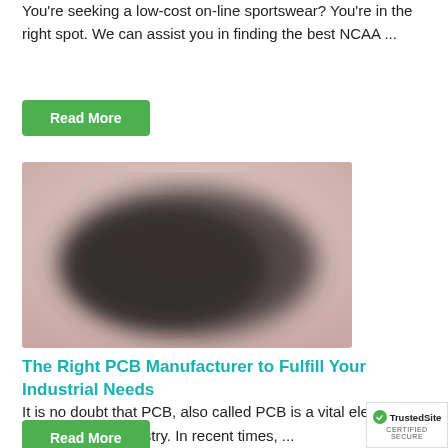You're seeking a low-cost on-line sportswear? You're in the right spot. We can assist you in finding the best NCAA ...
Read More
[Figure (photo): Blurred image of a PCB (printed circuit board) with pinkish/grayish background and dark center area]
The Right PCB Manufacturer to Fulfill Your Industrial Needs
It is no doubt that PCB, also called PCB is a vital element in the electronic industry. In recent times, ...
Read More
[Figure (logo): TrustedSite certified secure badge]